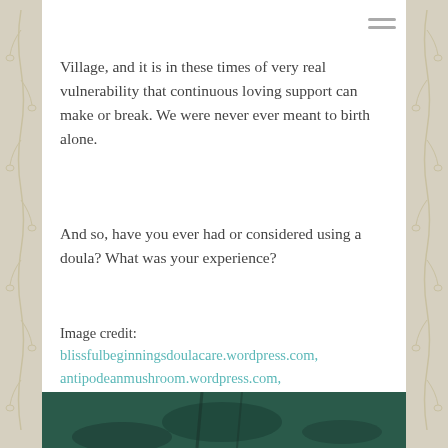Village, and it is in these times of very real vulnerability that continuous loving support can make or break. We were never ever meant to birth alone.
And so, have you ever had or considered using a doula? What was your experience?
Image credit: blissfulbeginningsdoulacare.wordpress.com, antipodeanmushroom.wordpress.com,
comments: 0
Share
doula, family
[Figure (illustration): Bottom strip showing a blurred outdoor/nature photo in teal/dark green tones]